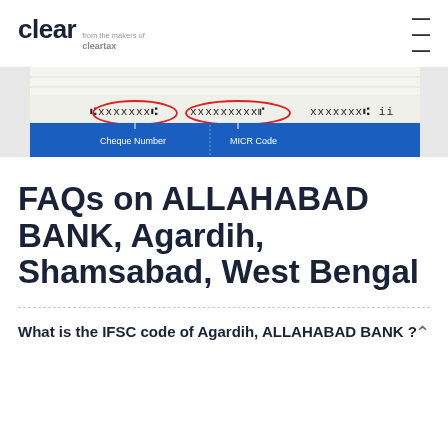clear from the makers of cleartax
[Figure (illustration): Cheque image showing Cheque Number and MICR Code fields circled in red, with labels below on a blue banner]
FAQs on ALLAHABAD BANK, Agardih, Shamsabad, West Bengal
What is the IFSC code of Agardih, ALLAHABAD BANK ?